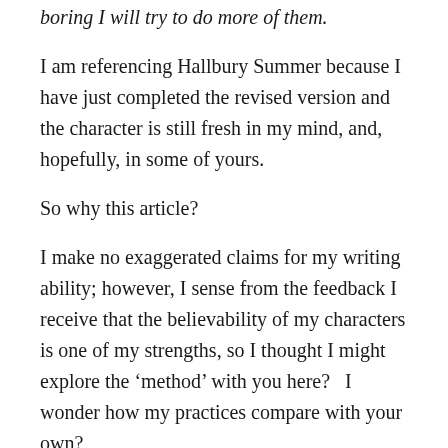boring I will try to do more of them.
I am referencing Hallbury Summer because I have just completed the revised version and the character is still fresh in my mind, and, hopefully, in some of yours.
So why this article?
I make no exaggerated claims for my writing ability; however, I sense from the feedback I receive that the believability of my characters is one of my strengths, so I thought I might explore the ‘method’ with you here?   I wonder how my practices compare with your own?